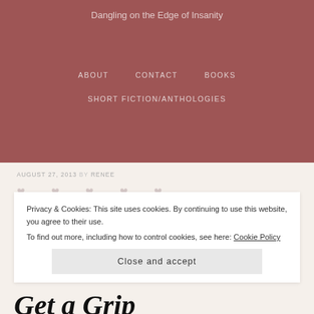Dangling on the Edge of Insanity
ABOUT   CONTACT   BOOKS   SHORT FICTION/ANTHOLOGIES
AUGUST 27, 2013 BY RENEE
Privacy & Cookies: This site uses cookies. By continuing to use this website, you agree to their use.
To find out more, including how to control cookies, see here: Cookie Policy
Close and accept
Get a Grip